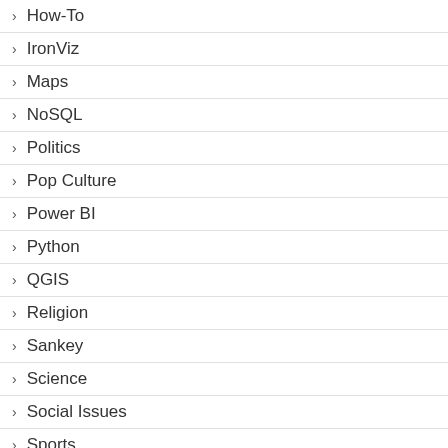How-To
IronViz
Maps
NoSQL
Politics
Pop Culture
Power BI
Python
QGIS
Religion
Sankey
Science
Social Issues
Sports
SQL